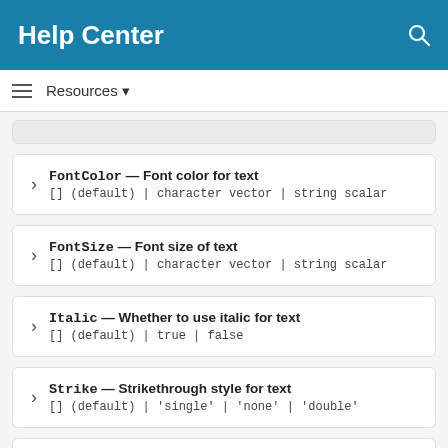Help Center
Resources ▼
FontColor — Font color for text
[] (default) | character vector | string scalar
FontSize — Font size of text
[] (default) | character vector | string scalar
Italic — Whether to use italic for text
[] (default) | true | false
Strike — Strikethrough style for text
[] (default) | 'single' | 'none' | 'double'
Subscript — Whether to display subscript...